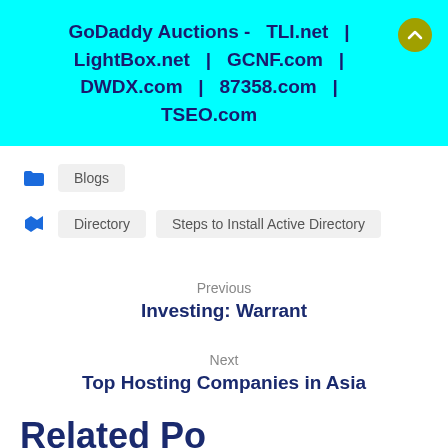GoDaddy Auctions - TLI.net | LightBox.net | GCNF.com | DWDX.com | 87358.com | TSEO.com
Blogs
Directory | Steps to Install Active Directory
Previous
Investing: Warrant
Next
Top Hosting Companies in Asia
Related Posts